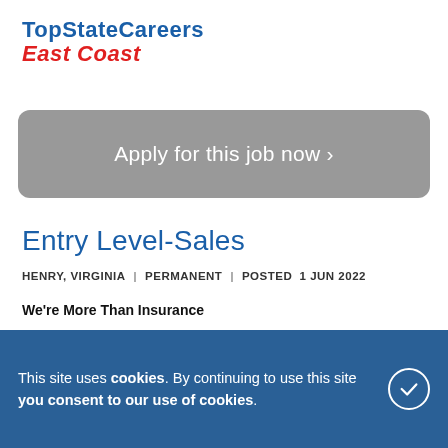TopStateCareers East Coast
Apply for this job now >
Entry Level-Sales
HENRY, VIRGINIA | PERMANENT | POSTED 1 JUN 2022
We're More Than Insurance
At Mutual of Omaha, we're not afraid to step outside the box and rele... Fortune... profess... many areas.
This site uses cookies. By continuing to use this site you consent to our use of cookies.